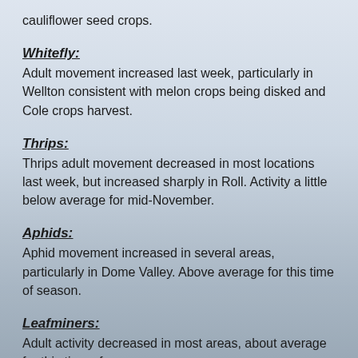cauliflower seed crops.
Whitefly:
Adult movement increased last week, particularly in Wellton consistent with melon crops being disked and Cole crops harvest.
Thrips:
Thrips adult movement decreased in most locations last week, but increased sharply in Roll. Activity a little below average for mid-November.
Aphids:
Aphid movement increased in several areas, particularly in Dome Valley. Above average for this time of season.
Leafminers:
Adult activity decreased in most areas, about average for this time of season.